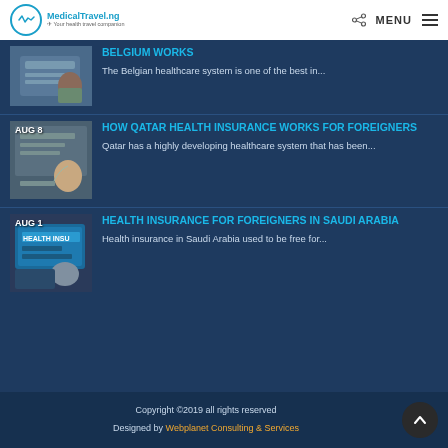MedicalTravel.ng | MENU
[Figure (photo): Partial article thumbnail showing person at desk, no date visible (top cropped)]
BELGIUM WORKS
The Belgian healthcare system is one of the best in...
[Figure (photo): Article thumbnail showing person signing document, dated AUG 8]
HOW QATAR HEALTH INSURANCE WORKS FOR FOREIGNERS
Qatar has a highly developing healthcare system that has been...
[Figure (photo): Article thumbnail showing health insurance card, dated AUG 1]
HEALTH INSURANCE FOR FOREIGNERS IN SAUDI ARABIA
Health insurance in Saudi Arabia used to be free for...
Copyright ©2019 all rights reserved
Designed by Webplanet Consulting & Services